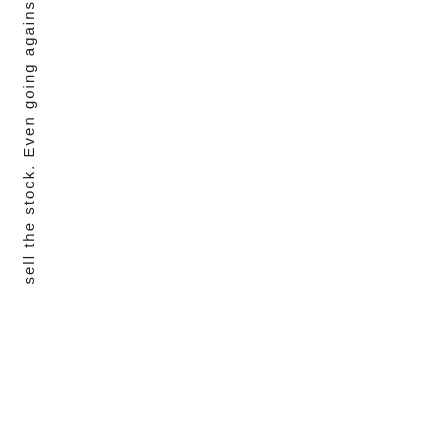sell the stock. Even going agains